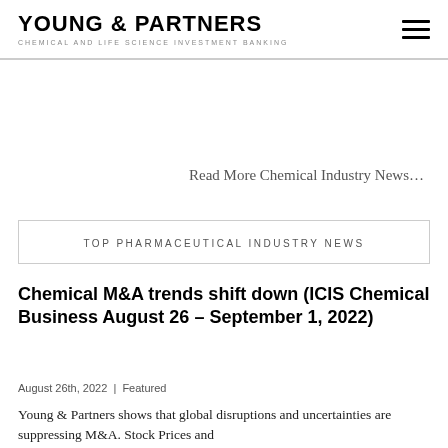YOUNG & PARTNERS | CHEMICAL AND LIFE SCIENCE INVESTMENT BANKING
Read More Chemical Industry News…
TOP PHARMACEUTICAL INDUSTRY NEWS
Chemical M&A trends shift down (ICIS Chemical Business August 26 – September 1, 2022)
August 26th, 2022  |  Featured
Young & Partners shows that global disruptions and uncertainties are suppressing M&A. Stock Prices and